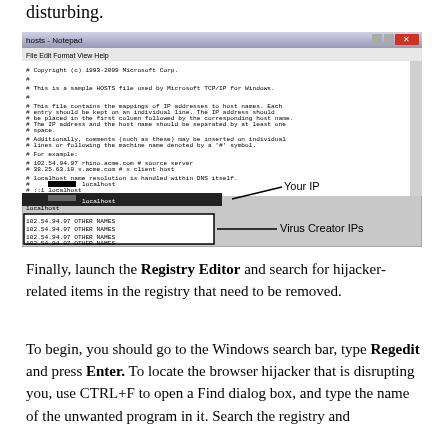disturbing.
[Figure (screenshot): Notepad showing hosts file with IP addresses. Labels pointing to 'Your IP' and 'Virus Creator IPs' with arrows.]
Finally, launch the Registry Editor and search for hijacker-related items in the registry that need to be removed.
To begin, you should go to the Windows search bar, type Regedit and press Enter. To locate the browser hijacker that is disrupting you, use CTRL+F to open a Find dialog box, and type the name of the unwanted program in it. Search the registry and